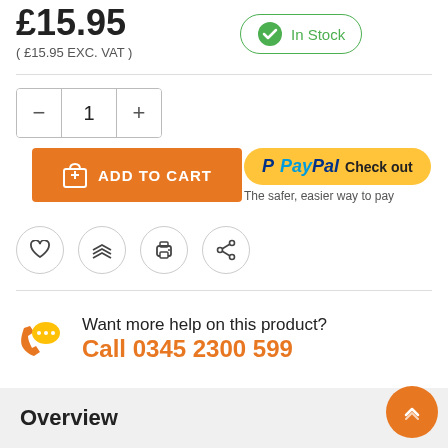£15.95
( £15.95 EXC. VAT )
In Stock
1
ADD TO CART
[Figure (logo): PayPal Check out button with text 'The safer, easier way to pay']
[Figure (infographic): Row of four icon circles: heart/wishlist, layers, print, share]
Want more help on this product?
Call 0345 2300 599
Overview